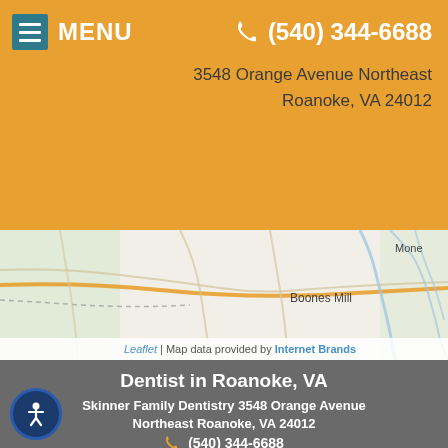MENU  (540) 344-6688
3548 Orange Avenue Northeast
Roanoke, VA 24012
[Figure (map): Street map showing area near Boones Mill, VA with roads and waterways. Map attribution: Leaflet | Map data provided by Internet Brands]
Dentist in Roanoke, VA
Skinner Family Dentistry 3548 Orange Avenue
Northeast Roanoke, VA 24012
(540) 344-6688